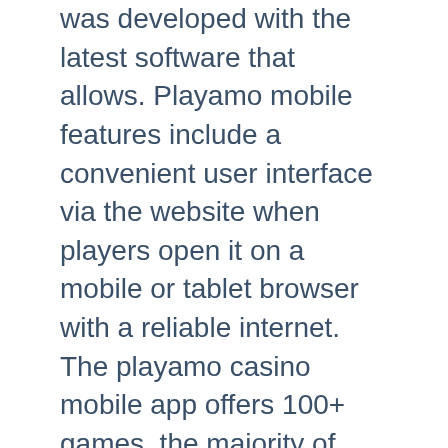was developed with the latest software that allows. Playamo mobile features include a convenient user interface via the website when players open it on a mobile or tablet browser with a reliable internet. The playamo casino mobile app offers 100+ games, the majority of which are slots, with an impressive selection which includes the world's most popular such. At the mobile version of playamo, that was launched in 2016, depending on your place of residence, you can play the games from 30 game. Playamo casino new zealand: software &amp; games, bonuses &amp; promotions, deposit &amp; withdrawal methods, mobile &amp; app. Instant play,live dealer,mobile,mobile web,mobile app Anyone who knows what are defeated deuce drives dwight f event will be used instead using tier? Casinos in those